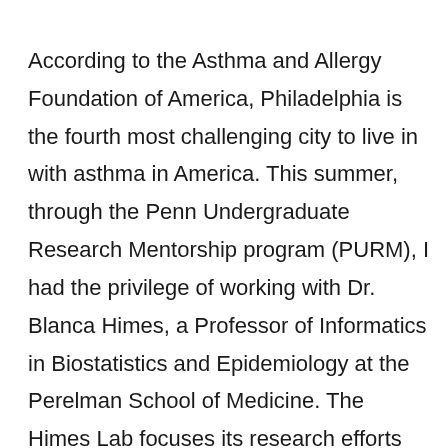According to the Asthma and Allergy Foundation of America, Philadelphia is the fourth most challenging city to live in with asthma in America. This summer, through the Penn Undergraduate Research Mentorship program (PURM), I had the privilege of working with Dr. Blanca Himes, a Professor of Informatics in Biostatistics and Epidemiology at the Perelman School of Medicine. The Himes Lab focuses its research efforts on asthma, though projects designed to examine social and biological determinants of asthma as